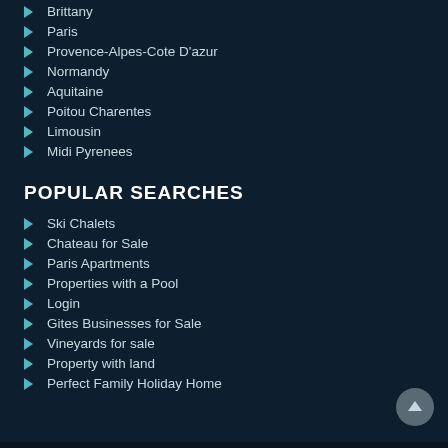Brittany
Paris
Provence-Alpes-Cote D'azur
Normandy
Aquitaine
Poitou Charentes
Limousin
Midi Pyrenees
POPULAR SEARCHES
Ski Chalets
Chateau for Sale
Paris Apartments
Properties with a Pool
Login
Gites Businesses for Sale
Vineyards for sale
Property with land
Perfect Family Holiday Home